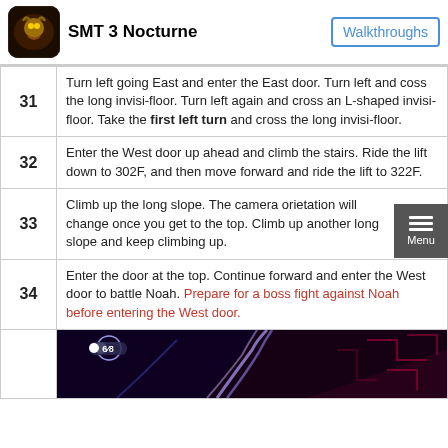SMT 3 Nocturne | Walkthroughs
| # | Description |
| --- | --- |
| 31 | Turn left going East and enter the East door. Turn left and coss the long invisi-floor. Turn left again and cross an L-shaped invisi-floor. Take the first left turn and cross the long invisi-floor. |
| 32 | Enter the West door up ahead and climb the stairs. Ride the lift down to 302F, and then move forward and ride the lift to 322F. |
| 33 | Climb up the long slope. The camera orietation will change once you get to the top. Climb up another long slope and keep climbing up. |
| 34 | Enter the door at the top. Continue forward and enter the West door to battle Noah. Prepare for a boss fight against Noah before entering the West door. |
| 35 | [screenshot] |